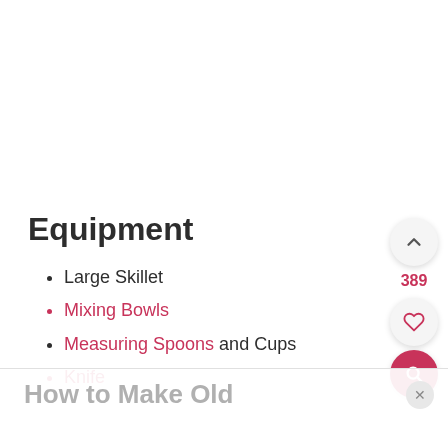Equipment
Large Skillet
Mixing Bowls
Measuring Spoons and Cups
Knife
389
How to Make Old